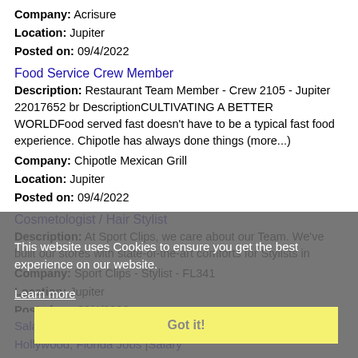Company: Acrisure
Location: Jupiter
Posted on: 09/4/2022
Food Service Crew Member
Description: Restaurant Team Member - Crew 2105 - Jupiter 22017652 br DescriptionCULTIVATING A BETTER WORLDFood served fast doesn't have to be a typical fast food experience. Chipotle has always done things (more...)
Company: Chipotle Mexican Grill
Location: Jupiter
Posted on: 09/4/2022
Cosmetologist / Hair Stylist
Description: At Sport Clips, we care about our Team. We've built our stores with state-of-the-art comforts for Stylists in
Company: Sport Clips - Stylist - FL341
Location: Jupiter
Posted on: 09/4/2022
This website uses Cookies to ensure you get the best experience on our website.
Learn more
Got it!
Salary in Hollywood, Florida Area | More details for Hollywood, Florida Jobs |Salary